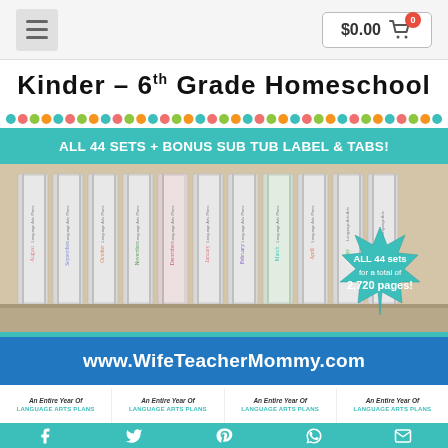$0.00
Kinder – 6th Grade Homeschool
ALL 44 SETS + BONUS SUB TUB LABEL & TABS!
[Figure (photo): Photo of binder spines for Language Arts Plans labeled by month, arranged side by side on a shelf. A starburst callout reads: ALL 44 sets for a total of 2,720 pages!]
ALL 44 sets for a total of 2,720 pages!
www.WifeTeacherMommy.com
An Entire Year Of LANGUAGE ARTS PLANS (repeated 4 times)
Social share icons: Facebook, Twitter, Pinterest, WhatsApp, Email